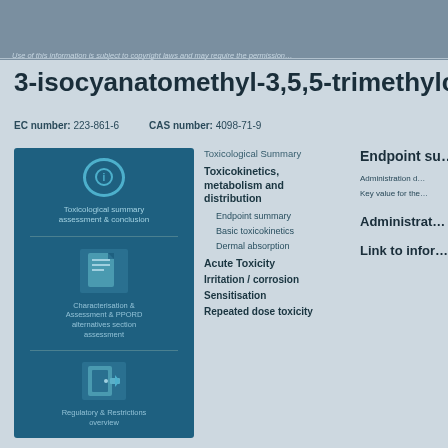Use of this information is subject to copyright laws and may require the permission…
3-isocyanatomethyl-3,5,5-trimethylcyclo…
EC number: 223-861-6    CAS number: 4098-71-9
[Figure (infographic): Blue panel with icons representing: Toxicological summary (info icon), Characterisation & Assessment & PPORD alternatives section (document icon), Regulatory & Restrictions (door/access icon)]
Toxicological Summary
Toxicokinetics, metabolism and distribution
Endpoint summary
Basic toxicokinetics
Dermal absorption
Acute Toxicity
Irritation / corrosion
Sensitisation
Repeated dose toxicity
Endpoint su…
Administration d…
Key value for the…
Administrat…
Link to infor…